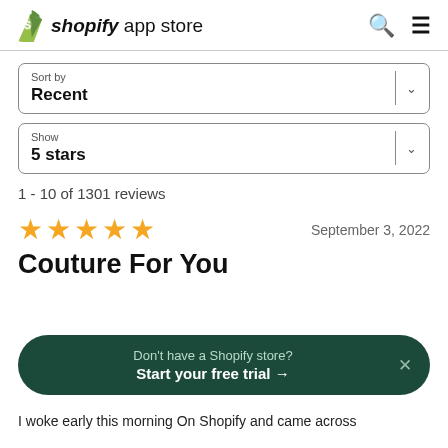shopify app store
Sort by
Recent
Show
5 stars
1 - 10 of 1301 reviews
★★★★★  September 3, 2022
Couture For You
Don't have a Shopify store? Start your free trial →
I woke early this morning On Shopify and came across